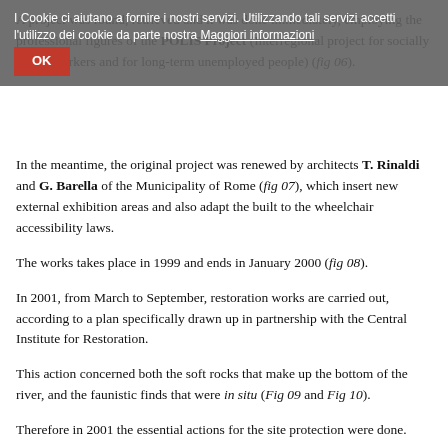A project was found, retrieved and it was done immediately, employing the professional figures of the POLIS Project (Interregional project for socially useful workers and for long-term unemployed people) (fig 06).
In the meantime, the original project was renewed by architects T. Rinaldi and G. Barella of the Municipality of Rome (fig 07), which insert new external exhibition areas and also adapt the built to the wheelchair accessibility laws.
The works takes place in 1999 and ends in January 2000 (fig 08).
In 2001, from March to September, restoration works are carried out, according to a plan specifically drawn up in partnership with the Central Institute for Restoration.
This action concerned both the soft rocks that make up the bottom of the river, and the faunistic finds that were in situ (Fig 09 and Fig 10).
Therefore in 2001 the essential actions for the site protection were done.